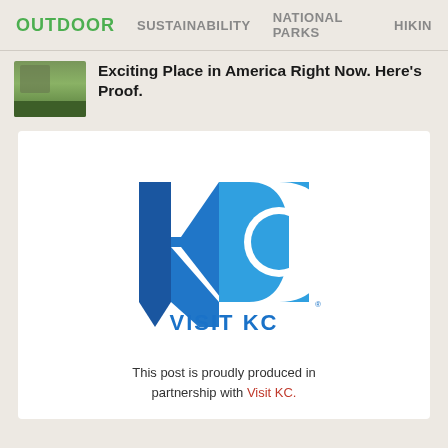OUTDOOR   SUSTAINABILITY   NATIONAL PARKS   HIKING
Exciting Place in America Right Now. Here's Proof.
[Figure (logo): Visit KC logo — stylized blue KC letterform inside a square, with 'VISIT KC' text below in blue]
This post is proudly produced in partnership with Visit KC.